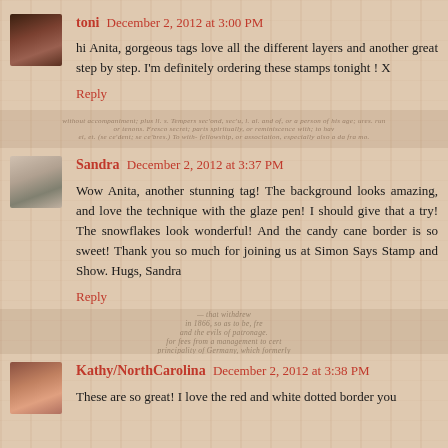[Figure (photo): Avatar photo of commenter toni - dark skinned person]
toni December 2, 2012 at 3:00 PM
hi Anita, gorgeous tags love all the different layers and another great step by step. I'm definitely ordering these stamps tonight ! X
Reply
[Figure (photo): Avatar photo of commenter Sandra - woman with dark hair]
Sandra December 2, 2012 at 3:37 PM
Wow Anita, another stunning tag! The background looks amazing, and love the technique with the glaze pen! I should give that a try! The snowflakes look wonderful! And the candy cane border is so sweet! Thank you so much for joining us at Simon Says Stamp and Show. Hugs, Sandra
Reply
[Figure (photo): Avatar photo of commenter Kathy/NorthCarolina - smiling woman]
Kathy/NorthCarolina December 2, 2012 at 3:38 PM
These are so great! I love the red and white dotted border you